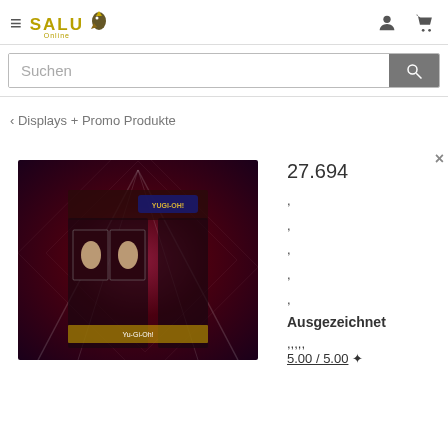SALU Online — navigation header with hamburger menu, logo, user icon, cart icon
Suchen
‹ Displays + Promo Produkte
[Figure (photo): Yu-Gi-Oh! card game display box set product image with dark red/purple background showing anime characters]
27.694
Ausgezeichnet
5.00 / 5.00 ✦